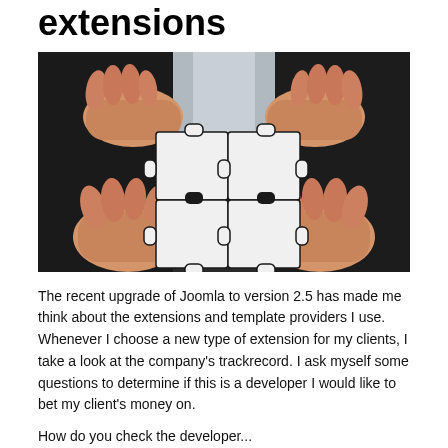extensions
[Figure (photo): Hands holding puzzle pieces together, black and white puzzle in center with people's hands around it, dark suit background]
The recent upgrade of Joomla to version 2.5 has made me think about the extensions and template providers I use. Whenever I choose a new type of extension for my clients, I take a look at the company's trackrecord. I ask myself some questions to determine if this is a developer I would like to bet my client's money on.
How do you check the developer...